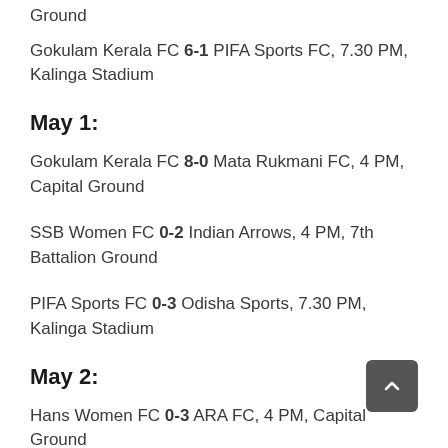Ground
Gokulam Kerala FC 6-1 PIFA Sports FC, 7.30 PM, Kalinga Stadium
May 1:
Gokulam Kerala FC 8-0 Mata Rukmani FC, 4 PM, Capital Ground
SSB Women FC 0-2 Indian Arrows, 4 PM, 7th Battalion Ground
PIFA Sports FC 0-3 Odisha Sports, 7.30 PM, Kalinga Stadium
May 2:
Hans Women FC 0-3 ARA FC, 4 PM, Capital Ground
Kickstart FC 2-0 Odisha Police, 4 PM, 7th Battalion